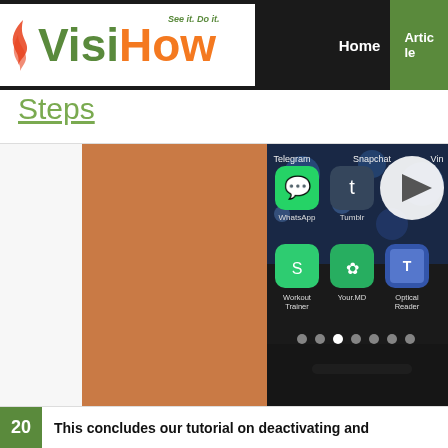VisiHow — See it. Do it. | Home | Articles
Steps
[Figure (screenshot): Screenshot of an Android phone home screen showing app icons including Telegram, Snapchat, Vine, WhatsApp, Tumblr, Workout Trainer, Your.MD, Optical Reader, with a video play button overlay. Orange/brown background on the left side (hand holding phone).]
20  This concludes our tutorial on deactivating and